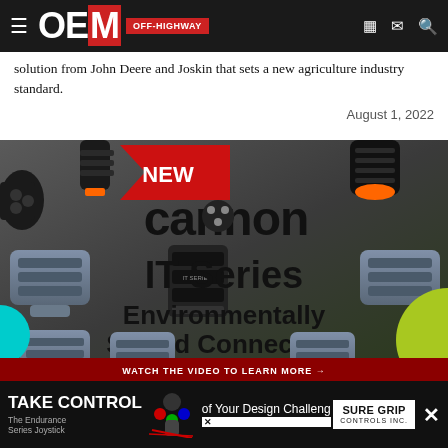OEM OFF-HIGHWAY
solution from John Deere and Joskin that sets a new agriculture industry standard.
August 1, 2022
[Figure (photo): Cannon IT Series Environmentally Sealed Connectors advertisement showing multiple gray and black electrical connectors with orange seals, a 'NEW' badge, and 'WATCH THE VIDEO TO LEARN MORE' call-to-action bar]
TAKE CONTROL of Your Design Challenge — The Endurance Series Joystick — SURE GRIP CONTROLS INC.